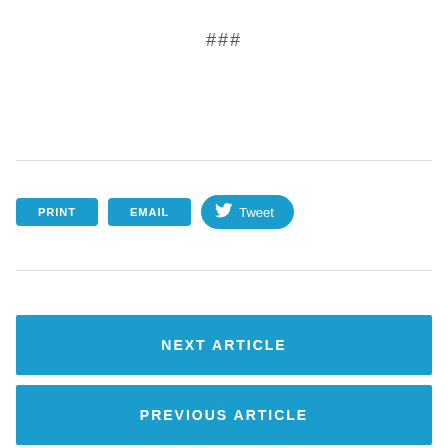###
PRINT
EMAIL
Tweet
NEXT ARTICLE
PREVIOUS ARTICLE